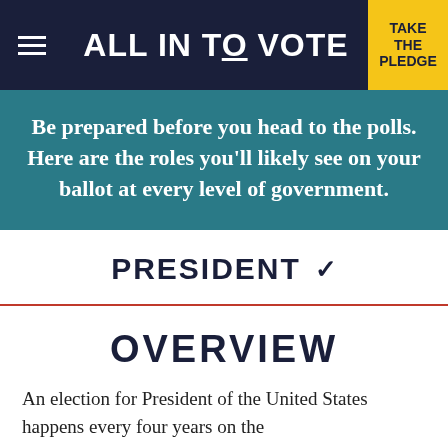ALL IN TO VOTE | TAKE THE PLEDGE
Be prepared before you head to the polls. Here are the roles you'll likely see on your ballot at every level of government.
PRESIDENT
OVERVIEW
An election for President of the United States happens every four years on the